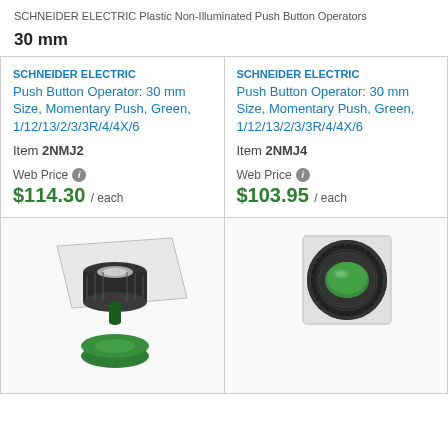SCHNEIDER ELECTRIC Plastic Non-Illuminated Push Button Operators
30 mm
SCHNEIDER ELECTRIC
Push Button Operator: 30 mm Size, Momentary Push, Green, 1/12/13/2/3/3R/4/4X/6
Item 2NMJ2
Web Price
$114.30 / each
SCHNEIDER ELECTRIC
Push Button Operator: 30 mm Size, Momentary Push, Green, 1/12/13/2/3/3R/4/4X/6
Item 2NMJ4
Web Price
$103.95 / each
[Figure (photo): Disassembled plastic non-illuminated push button operator components: black housing with white insert and separate green button cap]
[Figure (photo): Assembled plastic non-illuminated push button operator with green button face, black housing, and white square mounting plate]